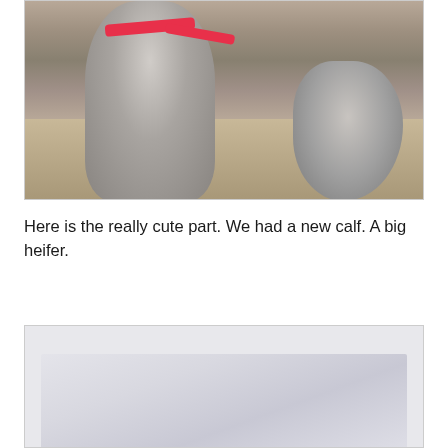[Figure (photo): Close-up photo of a gray donkey or small horse with a pink/red harness, standing on sandy/dirt ground. The animal's body and snout are visible.]
Here is the really cute part. We had a new calf. A big heifer.
[Figure (photo): Partially visible photo with light gray/white background, content mostly cut off at bottom of page.]